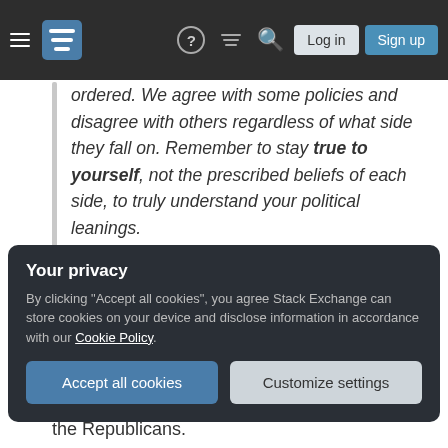Stack Exchange navigation bar with hamburger menu, logo, help, chat, search, Log in, Sign up
ordered. We agree with some policies and disagree with others regardless of what side they fall on. Remember to stay true to yourself, not the prescribed beliefs of each side, to truly understand your political leanings. (source)
The quotation above applies to each aspect of human's life, be it the attitude toward immigrants and international trade, right to
the Republicans.
Your privacy
By clicking "Accept all cookies", you agree Stack Exchange can store cookies on your device and disclose information in accordance with our Cookie Policy.
Accept all cookies   Customize settings